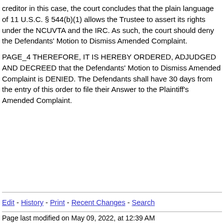creditor in this case, the court concludes that the plain language of 11 U.S.C. § 544(b)(1) allows the Trustee to assert its rights under the NCUVTA and the IRC. As such, the court should deny the Defendants' Motion to Dismiss Amended Complaint.
PAGE_4 THEREFORE, IT IS HEREBY ORDERED, ADJUDGED AND DECREED that the Defendants' Motion to Dismiss Amended Complaint is DENIED. The Defendants shall have 30 days from the entry of this order to file their Answer to the Plaintiff's Amended Complaint.
Edit - History - Print - Recent Changes - Search
Page last modified on May 09, 2022, at 12:39 AM